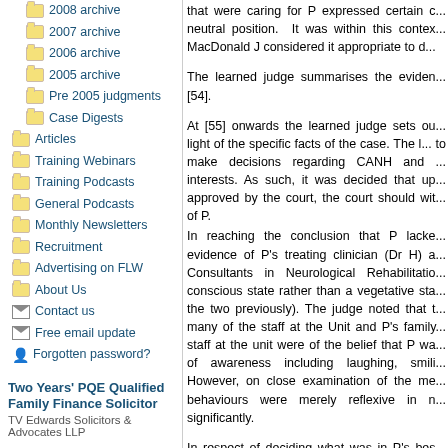2008 archive
2007 archive
2006 archive
2005 archive
Pre 2005 judgments
Case Digests
Articles
Training Webinars
Training Podcasts
General Podcasts
Monthly Newsletters
Recruitment
Advertising on FLW
About Us
Contact us
Free email update
Forgotten password?
Two Years' PQE Qualified Family Finance Solicitor
TV Edwards Solicitors & Advocates LLP
Family Solicitor
Quality Solicitors Harris Waters
Adams Harrison Solicitors-
that were caring for P expressed certain c... neutral position. It was within this contex... MacDonald J considered it appropriate to d...
The learned judge summarises the eviden... [54].
At [55] onwards the learned judge sets ou... light of the specific facts of the case. The l... to make decisions regarding CANH and ... interests. As such, it was decided that up... approved by the court, the court should wit... of P.
In reaching the conclusion that P lacke... evidence of P's treating clinician (Dr H) a... Consultants in Neurological Rehabilitatio... conscious state rather than a vegetative sta... the two previously). The judge noted that t... many of the staff at the Unit and P's family... staff at the unit were of the belief that P wa... of awareness including laughing, smili... However, on close examination of the me... behaviours were merely reflexive in n... significantly.
In respect of deciding what was in P's bes... judge was P's express wishes prior to losi... 'could be ascertained with sufficient ce... application, should prevail over the ver...